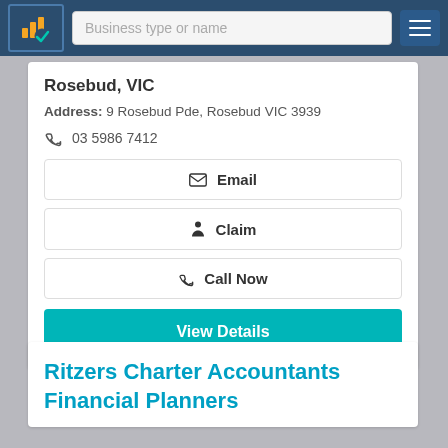Business type or name
Rosebud, VIC
Address: 9 Rosebud Pde, Rosebud VIC 3939
03 5986 7412
Email
Claim
Call Now
View Details
Ritzers Charter Accountants Financial Planners